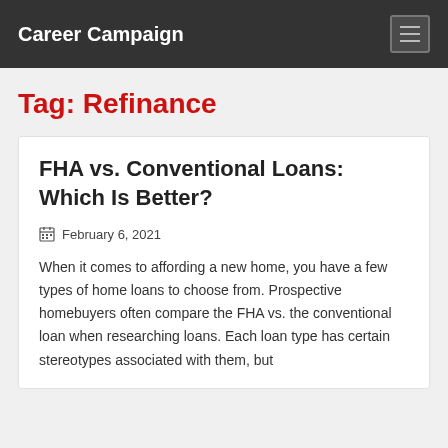Career Campaign
Tag: Refinance
FHA vs. Conventional Loans: Which Is Better?
February 6, 2021
When it comes to affording a new home, you have a few types of home loans to choose from. Prospective homebuyers often compare the FHA vs. the conventional loan when researching loans. Each loan type has certain stereotypes associated with them, but